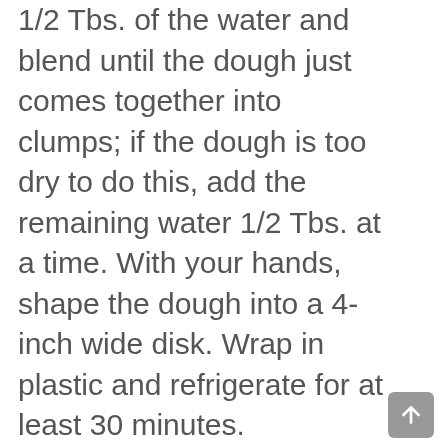1/2 Tbs. of the water and blend until the dough just comes together into clumps; if the dough is too dry to do this, add the remaining water 1/2 Tbs. at a time. With your hands, shape the dough into a 4-inch wide disk. Wrap in plastic and refrigerate for at least 30 minutes.
Roll out the dough